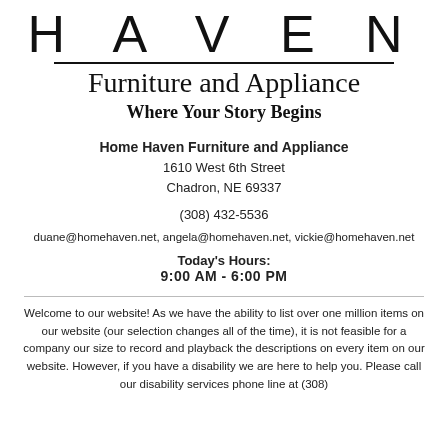[Figure (logo): Haven Furniture and Appliance logo with large HAVEN text, horizontal rule, cursive 'Furniture and Appliance' and bold cursive tagline 'Where Your Story Begins']
Home Haven Furniture and Appliance
1610 West 6th Street
Chadron, NE 69337
(308) 432-5536
duane@homehaven.net, angela@homehaven.net, vickie@homehaven.net
Today's Hours:
9:00 AM - 6:00 PM
Welcome to our website! As we have the ability to list over one million items on our website (our selection changes all of the time), it is not feasible for a company our size to record and playback the descriptions on every item on our website. However, if you have a disability we are here to help you. Please call our disability services phone line at (308)